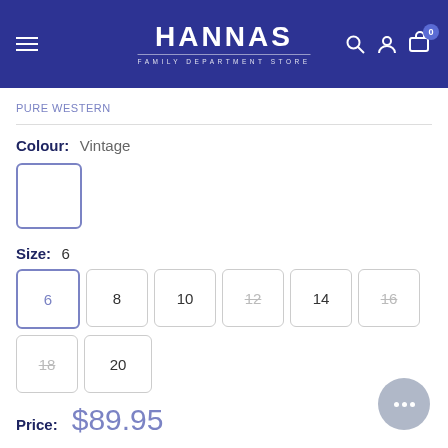HANNAS FAMILY DEPARTMENT STORE
PURE WESTERN
Colour: Vintage
Size: 6
Sizes available: 6, 8, 10, 12 (unavailable), 14, 16 (unavailable), 18 (unavailable), 20
Price: $89.95